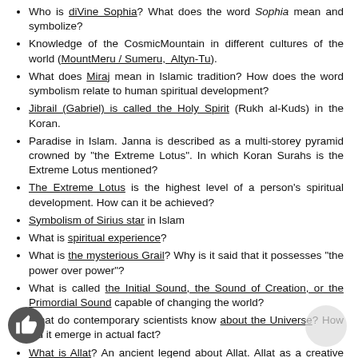Who is divine Sophia? What does the word Sophia mean and symbolize?
Knowledge of the CosmicMountain in different cultures of the world (MountMeru / Sumeru, Altyn-Tu).
What does Miraj mean in Islamic tradition? How does the word symbolism relate to human spiritual development?
Jibrail (Gabriel) is called the Holy Spirit (Rukh al-Kuds) in the Koran.
Paradise in Islam. Janna is described as a multi-storey pyramid crowned by "the Extreme Lotus". In which Koran Surahs is the Extreme Lotus mentioned?
The Extreme Lotus is the highest level of a person's spiritual development. How can it be achieved?
Symbolism of Sirius star in Islam
What is spiritual experience?
What is the mysterious Grail? Why is it said that it possesses "the power over power"?
What is called the Initial Sound, the Sound of Creation, or the Primordial Sound capable of changing the world?
What do contemporary scientists know about the Universe? How did it emerge in actual fact?
What is Allat? An ancient legend about Allat. Allat as a creative power of the female nature, that came from God's